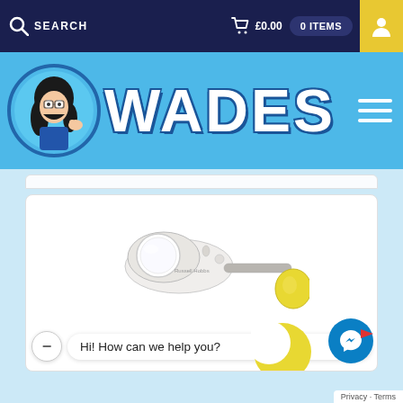SEARCH  £0.00  0 ITEMS
[Figure (logo): Wades shop logo with cartoon character and WADES text on blue background]
[Figure (photo): White handheld electric carving knife / kitchen device with yellow accent, Russell Hobbs brand]
Hi! How can we help you?
Privacy · Terms